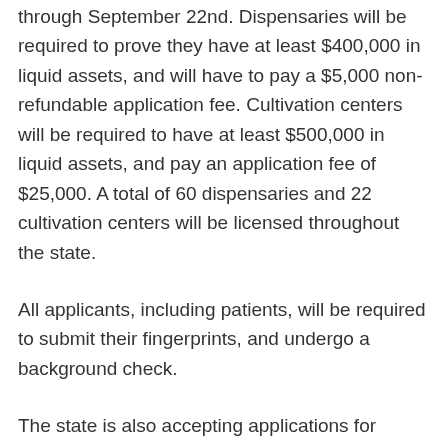through September 22nd. Dispensaries will be required to prove they have at least $400,000 in liquid assets, and will have to pay a $5,000 non-refundable application fee. Cultivation centers will be required to have at least $500,000 in liquid assets, and pay an application fee of $25,000. A total of 60 dispensaries and 22 cultivation centers will be licensed throughout the state.
All applicants, including patients, will be required to submit their fingerprints, and undergo a background check.
The state is also accepting applications for members of the Medical Cannabis Advisory Board, which will be responsible for considering the addition of new qualifying medical conditions under the pilot program.